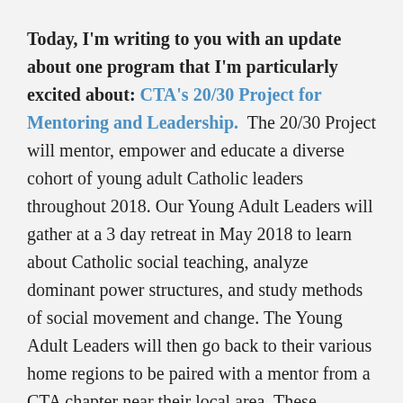Today, I'm writing to you with an update about one program that I'm particularly excited about: CTA's 20/30 Project for Mentoring and Leadership. The 20/30 Project will mentor, empower and educate a diverse cohort of young adult Catholic leaders throughout 2018. Our Young Adult Leaders will gather at a 3 day retreat in May 2018 to learn about Catholic social teaching, analyze dominant power structures, and study methods of social movement and change. The Young Adult Leaders will then go back to their various home regions to be paired with a mentor from a CTA chapter near their local area. These